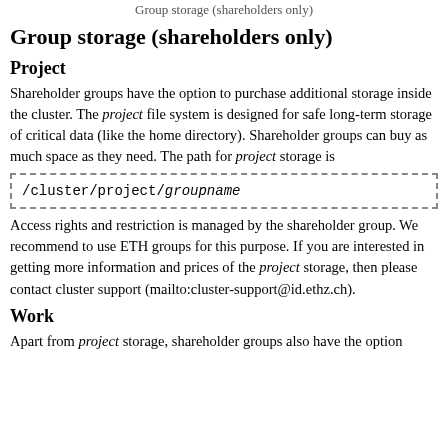Group storage (shareholders only)
Group storage (shareholders only)
Project
Shareholder groups have the option to purchase additional storage inside the cluster. The project file system is designed for safe long-term storage of critical data (like the home directory). Shareholder groups can buy as much space as they need. The path for project storage is
Access rights and restriction is managed by the shareholder group. We recommend to use ETH groups for this purpose. If you are interested in getting more information and prices of the project storage, then please contact cluster support (mailto:cluster-support@id.ethz.ch).
Work
Apart from project storage, shareholder groups also have the option